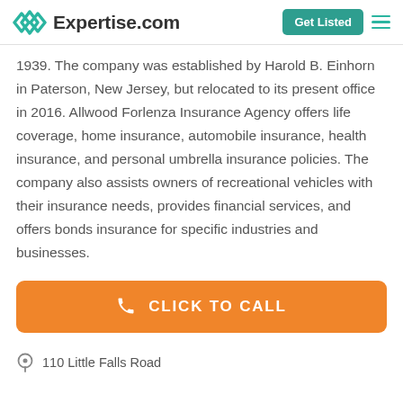Expertise.com — Get Listed
1939. The company was established by Harold B. Einhorn in Paterson, New Jersey, but relocated to its present office in 2016. Allwood Forlenza Insurance Agency offers life coverage, home insurance, automobile insurance, health insurance, and personal umbrella insurance policies. The company also assists owners of recreational vehicles with their insurance needs, provides financial services, and offers bonds insurance for specific industries and businesses.
[Figure (other): Orange CLICK TO CALL button with phone icon]
110 Little Falls Road